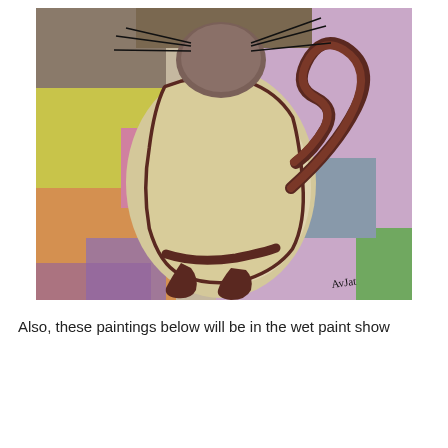[Figure (photo): A whimsical painting of a plump cat with a cream/beige body, dark brown outline, curled tail, and dark paws, set against a colorful patchwork background of purple, yellow, orange, pink, and green. The cat is shown from behind/side view with prominent whiskers at the top. An artist's signature appears in the lower right corner.]
Also, these paintings below will be in the wet paint show